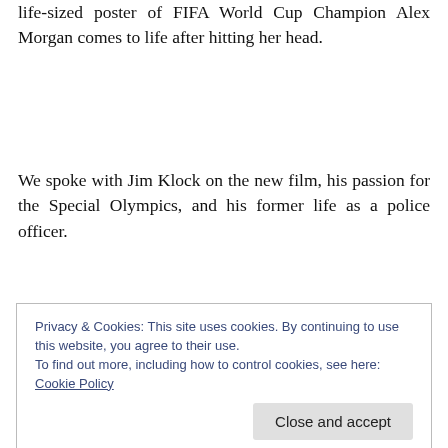life-sized poster of FIFA World Cup Champion Alex Morgan comes to life after hitting her head.
We spoke with Jim Klock on the new film, his passion for the Special Olympics, and his former life as a police officer.
“This is just a wonderful family film that is full of heart,
Privacy & Cookies: This site uses cookies. By continuing to use this website, you agree to their use.
To find out more, including how to control cookies, see here: Cookie Policy
Close and accept
the cast, crew, director Eric Champnella and of course,